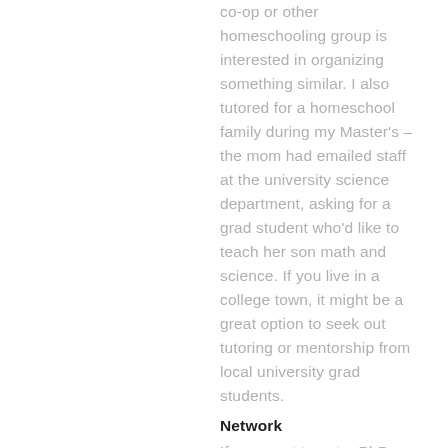co-op or other homeschooling group is interested in organizing something similar. I also tutored for a homeschool family during my Master's – the mom had emailed staff at the university science department, asking for a grad student who'd like to teach her son math and science. If you live in a college town, it might be a great option to seek out tutoring or mentorship from local university grad students.
Network
If you want to get a PhD or MS in science, good news! They will pay you for your research. On the flip side of that, since your professor is technically hiring you,